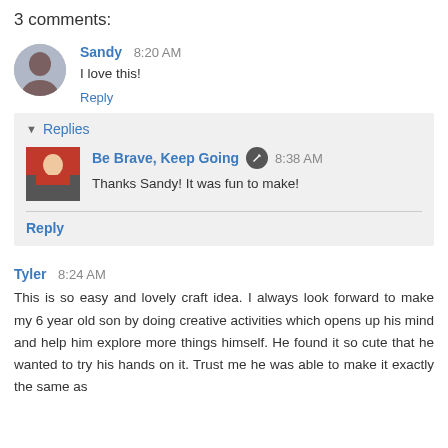3 comments:
Sandy 8:20 AM
I love this!
Reply
Replies
Be Brave, Keep Going 8:38 AM
Thanks Sandy! It was fun to make!
Reply
Tyler 8:24 AM
This is so easy and lovely craft idea. I always look forward to make my 6 year old son by doing creative activities which opens up his mind and help him explore more things himself. He found it so cute that he wanted to try his hands on it. Trust me he was able to make it exactly the same as